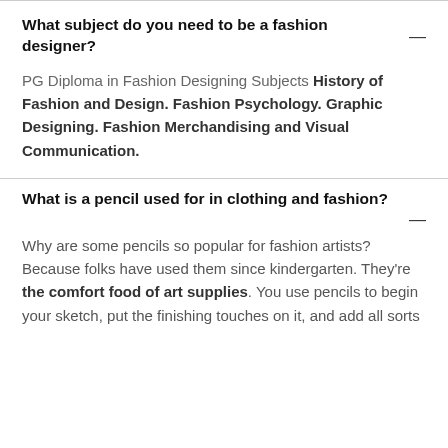What subject do you need to be a fashion designer?
PG Diploma in Fashion Designing Subjects History of Fashion and Design. Fashion Psychology. Graphic Designing. Fashion Merchandising and Visual Communication.
What is a pencil used for in clothing and fashion?
Why are some pencils so popular for fashion artists? Because folks have used them since kindergarten. They're the comfort food of art supplies. You use pencils to begin your sketch, put the finishing touches on it, and add all sorts of details that matter.